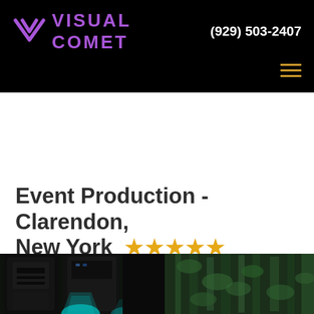VISUAL COMET  (929) 503-2407
Event Production - Clarendon, New York  ★★★★★
[Figure (photo): Event production setup with large LED display wall showing green foliage pattern, stage lighting with cyan/teal beams, and audio/visual equipment in a dark venue.]